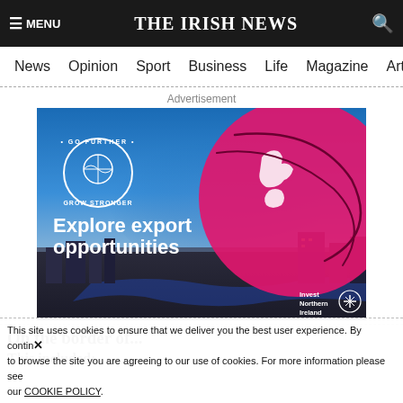☰ MENU  THE IRISH NEWS  🔍
News  Opinion  Sport  Business  Life  Magazine  Arts  N
Advertisement
[Figure (illustration): Invest Northern Ireland advertisement — 'Go Further Grow Stronger' circular logo over a city aerial photo at dusk with a large pink globe showing UK/Ireland map overlay. Text: 'Explore export opportunities'. Invest Northern Ireland logo bottom right.]
On the border of...
This included:
This site uses cookies to ensure that we deliver you the best user experience. By continuing to browse the site you are agreeing to our use of cookies. For more information please see our COOKIE POLICY.